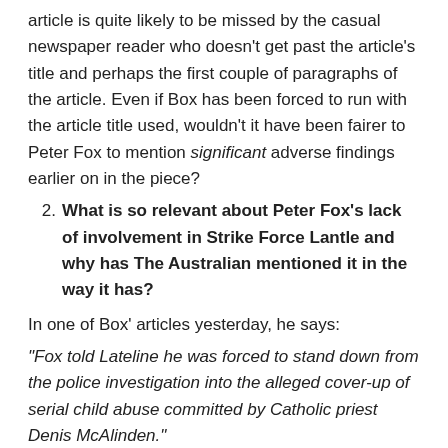article is quite likely to be missed by the casual newspaper reader who doesn't get past the article's title and perhaps the first couple of paragraphs of the article. Even if Box has been forced to run with the article title used, wouldn't it have been fairer to Peter Fox to mention significant adverse findings earlier on in the piece?
What is so relevant about Peter Fox's lack of involvement in Strike Force Lantle and why has The Australian mentioned it in the way it has?
In one of Box' articles yesterday, he says:
“Fox told Lateline he was forced to stand down from the police investigation into the alleged cover-up of serial child abuse committed by Catholic priest Denis McAlinden.”
“Giving evidence to the state inquiry, he goes further